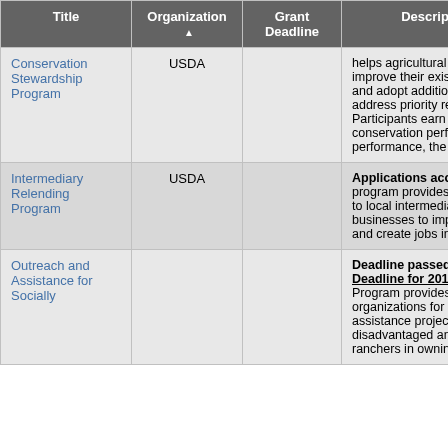| Title | Organization ▲ | Grant Deadline | Description |
| --- | --- | --- | --- |
| Conservation Stewardship Program | USDA |  | helps agricultural producers m... improve their existing conserv... and adopt additional conserva... address priority resources co... Participants earn CSP payme... conservation performance—t... performance, the higher the p... |
| Intermediary Relending Program | USDA |  | Applications accepted year... program provides 1 percent l... to local intermediaries that re... businesses to improve econo... and create jobs in rural comm... |
| Outreach and Assistance for Socially... |  |  | Deadline passed as of July... Deadline for 2017 unknown... Program provides funding to... organizations for training and... assistance projects designed... disadvantaged and veteran fa... ranchers in owning and oper... |